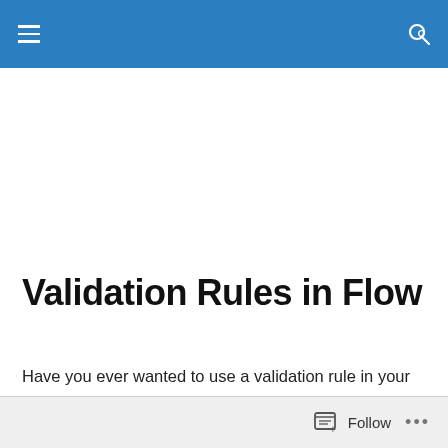Validation Rules in Flow
Have you ever wanted to use a validation rule in your Flow to make sure Users are correctly entering the data?  If you're like me, you struggle writing them often times because you hardly use them!  They're essentially the
Follow ...